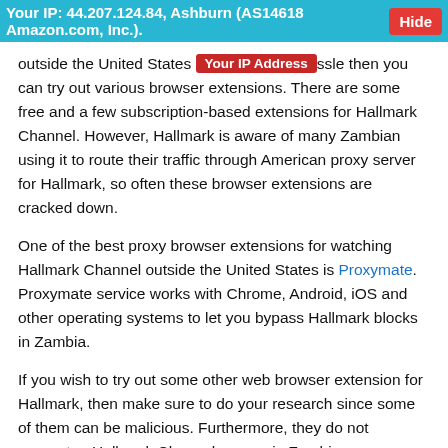Your IP: 44.207.124.84, Ashburn (AS14618 Amazon.com, Inc.). Hide
outside the United States [Your IP Address] ssle then you can try out various browser extensions. There are some free and a few subscription-based extensions for Hallmark Channel. However, Hallmark is aware of many Zambian using it to route their traffic through American proxy server for Hallmark, so often these browser extensions are cracked down.
One of the best proxy browser extensions for watching Hallmark Channel outside the United States is Proxymate. Proxymate service works with Chrome, Android, iOS and other operating systems to let you bypass Hallmark blocks in Zambia.
If you wish to try out some other web browser extension for Hallmark, then make sure to do your research since some of them can be malicious. Furthermore, they do not guarantee Hallmark Channel access in Zambia.
Why don’t some tools work with Hallmark Channel?
Hallmark knows that there are many tools available to unblock it in